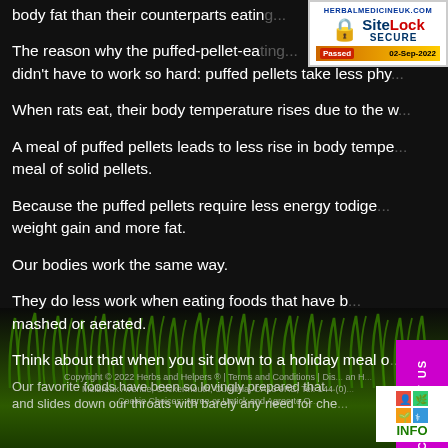body fat than their counterparts eating...
The reason why the puffed-pellet-eating rats' digestive systems didn't have to work so hard: puffed pellets take less phy...
When rats eat, their body temperature rises due to the w...
A meal of puffed pellets leads to less rise in body tempe... meal of solid pellets.
Because the puffed pellets require less energy to dige... weight gain and more fat.
Our bodies work the same way.
They do less work when eating foods that have b... mashed or aerated.
Think about that when you sit down to a holiday meal o...
Our favorite foods have been so lovingly prepared that... and slides down our throats with barely any need for che...
Copyright © 2022 Herbs and Helpers ® | Terms and Conditions | Dis... Melbreak Avenue, Cockermouth, Cumbria, CA13 9RE, Tel: 144 (0)...
Cookie Choices: Agree or Untick and Agree to O...